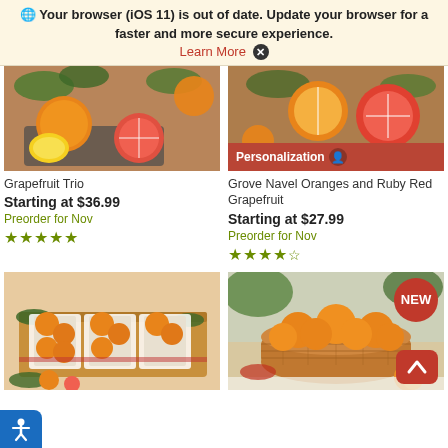🌐 Your browser (iOS 11) is out of date. Update your browser for a faster and more secure experience. Learn More ✕
[Figure (photo): Grapefruit Trio - mixed citrus fruits including orange and pink grapefruit halves arranged in a wooden crate with green leaves]
Grapefruit Trio
Starting at $36.99
Preorder for Nov
★★★★★
[Figure (photo): Grove Navel Oranges and Ruby Red Grapefruit - sliced citrus on a cutting board, with personalization badge overlay]
Grove Navel Oranges and Ruby Red Grapefruit
Starting at $27.99
Preorder for Nov
★★★★½
[Figure (photo): Citrus gift box with individually wrapped oranges/grapefruits in red tissue paper arranged in a decorative box]
[Figure (photo): Basket of navel oranges with NEW badge - woven basket filled with fresh oranges on a white surface]